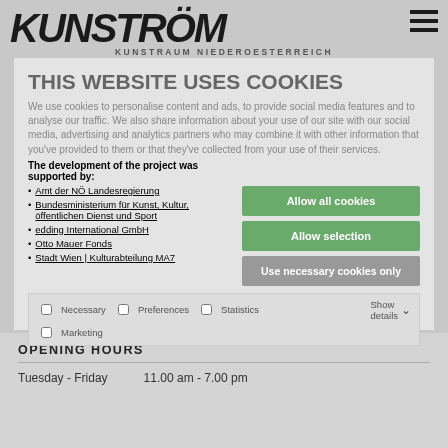KUNSTRAUM NIEDEROESTERREICH
THIS WEBSITE USES COOKIES
We use cookies to personalise content and ads, to provide social media features and to analyse our traffic. We also share information about your use of our site with our social media, advertising and analytics partners who may combine it with other information that you've provided to them or that they've collected from your use of their services.
The development of the project was supported by:
Amt der NÖ Landesregierung
Bundesministerium für Kunst, Kultur, öffentlichen Dienst und Sport
edding International GmbH
Otto Mauer Fonds
Stadt Wien | Kulturabteilung MA7
Allow all cookies
Allow selection
Use necessary cookies only
Necessary  Preferences  Statistics  Marketing  Show details
OPENING HOURS
Tuesday - Friday    11.00 am - 7.00 pm